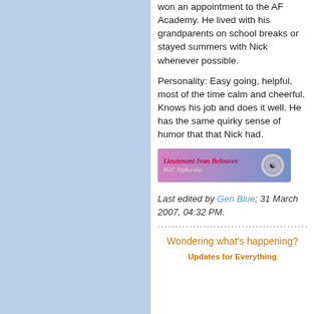won an appointment to the AF Academy. He lived with his grandparents on school breaks or stayed summers with Nick whenever possible.
Personality: Easy going, helpful, most of the time calm and cheerful. Knows his job and does it well. He has the same quirky sense of humor that that Nick had.
[Figure (illustration): Character badge/ID card reading 'Lieutenant Ivan Belousov, SGC Alpha-site' with a circular emblem on the right, gradient background in pink/purple/blue.]
Last edited by Gen Blue; 31 March 2007, 04:32 PM.
Wondering what's happening? Updates for Everything